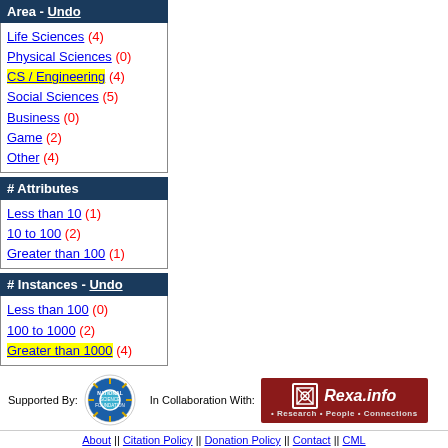Area - Undo
Life Sciences (4)
Physical Sciences (0)
CS / Engineering (4)
Social Sciences (5)
Business (0)
Game (2)
Other (4)
# Attributes
Less than 10 (1)
10 to 100 (2)
Greater than 100 (1)
# Instances - Undo
Less than 100 (0)
100 to 1000 (2)
Greater than 1000 (4)
Format Type
Matrix (3)
Non-Matrix (1)
About || Citation Policy || Donation Policy || Contact || CML